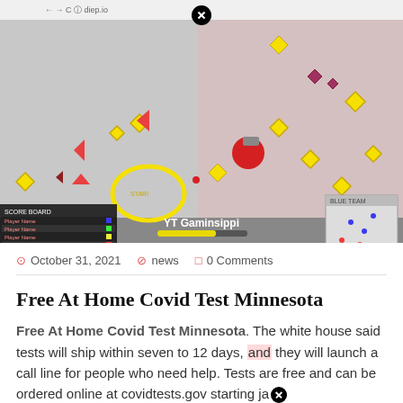[Figure (screenshot): Screenshot of a browser window showing a game (diep.io style) with a yellow highlighted circle shape in the lower left area, various colored geometric shapes scattered around (yellow diamonds, red triangles), a minimap in the bottom right, and a scoreboard panel on the left. A close/X button overlay is visible at the top center.]
October 31, 2021   news   0 Comments
Free At Home Covid Test Minnesota
Free At Home Covid Test Minnesota. The white house said tests will ship within seven to 12 days, and they will launch a call line for people who need help. Tests are free and can be ordered online at covidtests.gov starting ja